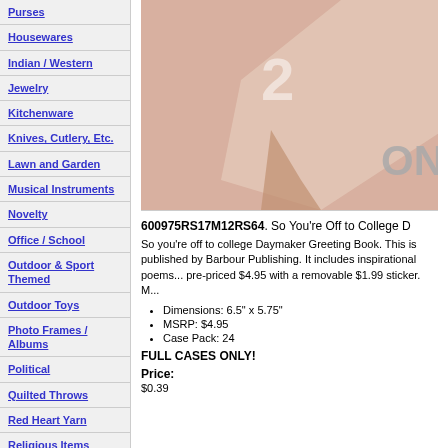Purses
Housewares
Indian / Western
Jewelry
Kitchenware
Knives, Cutlery, Etc.
Lawn and Garden
Musical Instruments
Novelty
Office / School
Outdoor & Sport Themed
Outdoor Toys
Photo Frames / Albums
Political
Quilted Throws
Red Heart Yarn
Religious Items
Ribbon
[Figure (photo): Product photo of So You're Off to College Daymaker Greeting Book, showing a salmon/pink colored book cover with partial text visible and 'ON' label]
600975RS17M12RS64. So You're Off to College D...
So you're off to college Daymaker Greeting Book. This is published by Barbour Publishing. It includes inspirational poems... pre-priced $4.95 with a removable $1.99 sticker. M...
Dimensions: 6.5" x 5.75"
MSRP: $4.95
Case Pack: 24
FULL CASES ONLY!
Price:
$0.39